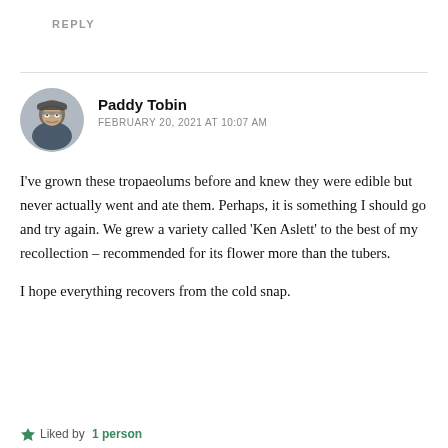REPLY
Paddy Tobin
FEBRUARY 20, 2021 AT 10:07 AM
I've grown these tropaeolums before and knew they were edible but never actually went and ate them. Perhaps, it is something I should go and try again. We grew a variety called 'Ken Aslett' to the best of my recollection – recommended for its flower more than the tubers.
I hope everything recovers from the cold snap.
Liked by 1 person